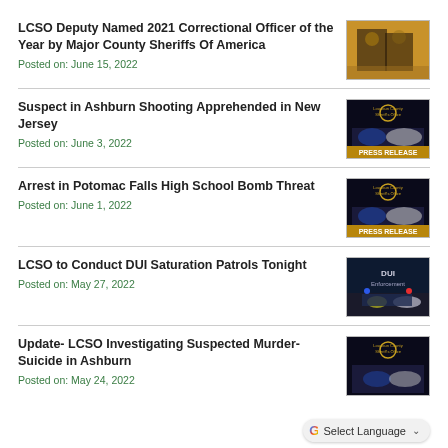LCSO Deputy Named 2021 Correctional Officer of the Year by Major County Sheriffs Of America
Posted on: June 15, 2022
[Figure (photo): Two people on stage, award ceremony, warm amber background]
Suspect in Ashburn Shooting Apprehended in New Jersey
Posted on: June 3, 2022
[Figure (photo): Loudoun County Sheriff's Office Press Release graphic with police car]
Arrest in Potomac Falls High School Bomb Threat
Posted on: June 1, 2022
[Figure (photo): Loudoun County Sheriff's Office Press Release graphic with police car]
LCSO to Conduct DUI Saturation Patrols Tonight
Posted on: May 27, 2022
[Figure (photo): DUI Enforcement graphic with police car at night]
Update- LCSO Investigating Suspected Murder-Suicide in Ashburn
Posted on: May 24, 2022
[Figure (photo): Loudoun County Sheriff's Office graphic]